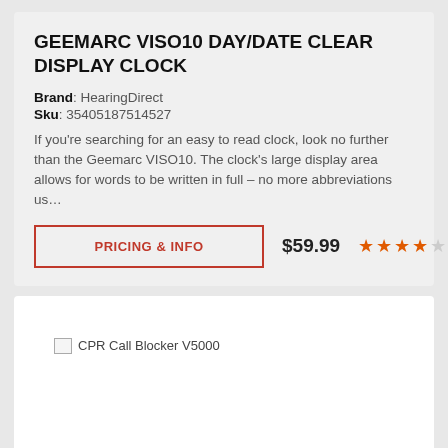GEEMARC VISO10 DAY/DATE CLEAR DISPLAY CLOCK
Brand: HearingDirect
Sku: 35405187514527
If you're searching for an easy to read clock, look no further than the Geemarc VISO10. The clock's large display area allows for words to be written in full – no more abbreviations us…
PRICING & INFO
$59.99
[Figure (other): 4 filled orange stars and 1 empty gray star rating]
[Figure (other): Broken image placeholder with text: CPR Call Blocker V5000]